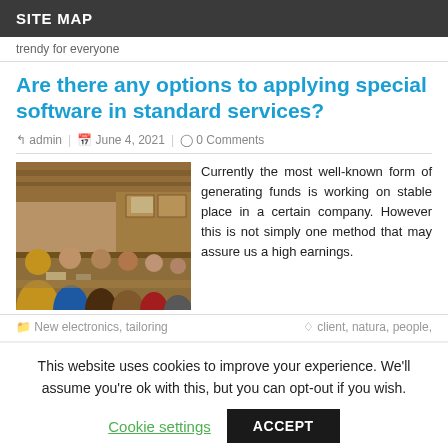SITE MAP
trendy for everyone
Are there any options to applying special software in standard services?
admin | June 4, 2021 | 0 Comments
[Figure (photo): People gathered around a table in a kitchen or dining area, group meeting scene]
Currently the most well-known form of generating funds is working on stable place in a certain company. However this is not simply one method that may assure us a high earnings.
New electronics, tailoring
client, natura, people,
This website uses cookies to improve your experience. We'll assume you're ok with this, but you can opt-out if you wish.
Cookie settings  ACCEPT